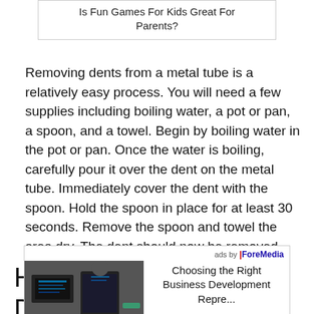Is Fun Games For Kids Great For Parents?
Removing dents from a metal tube is a relatively easy process. You will need a few supplies including boiling water, a pot or pan, a spoon, and a towel. Begin by boiling water in the pot or pan. Once the water is boiling, carefully pour it over the dent on the metal tube. Immediately cover the dent with the spoon. Hold the spoon in place for at least 30 seconds. Remove the spoon and towel the area dry. The dent should now be removed.
[Figure (screenshot): Advertisement banner showing a person working at a laptop in an office setting, with text 'Choosing the Right Business Development Repre...' and 'ads by ForeMedia' label]
Ho De